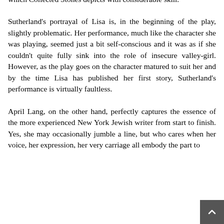which Collected Stones depicts with considerable skill.
Sutherland's portrayal of Lisa is, in the beginning of the play, slightly problematic. Her performance, much like the character she was playing, seemed just a bit self-conscious and it was as if she couldn't quite fully sink into the role of insecure valley-girl. However, as the play goes on the character matured to suit her and by the time Lisa has published her first story, Sutherland's performance is virtually faultless.
April Lang, on the other hand, perfectly captures the essence of the more experienced New York Jewish writer from start to finish. Yes, she may occasionally jumble a line, but who cares when her voice, her expression, her very carriage all embody the part to